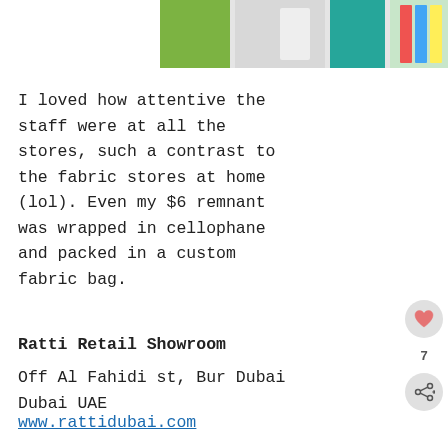[Figure (photo): Partial photo strip showing colorful fabric store interior with green and teal fabrics]
I loved how attentive the staff were at all the stores, such a contrast to the fabric stores at home (lol). Even my $6 remnant was wrapped in cellophane and packed in a custom fabric bag.
Ratti Retail Showroom
Off Al Fahidi st, Bur Dubai
Dubai UAE
www.rattidubai.com